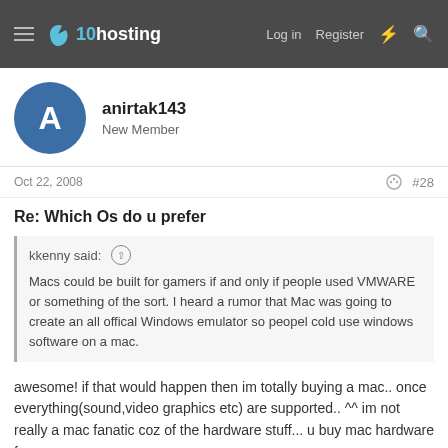x10hosting — Log in  Register
anirtak143
New Member
Oct 22, 2008  #28
Re: Which Os do u prefer
kkenny said:
Macs could be built for gamers if and only if people used VMWARE or something of the sort. I heard a rumor that Mac was going to create an all offical Windows emulator so peopel cold use windows software on a mac.
awesome! if that would happen then im totally buying a mac.. once everything(sound,video graphics etc) are supported.. ^^ im not really a mac fanatic coz of the hardware stuff... u buy mac hardware for ur mac.